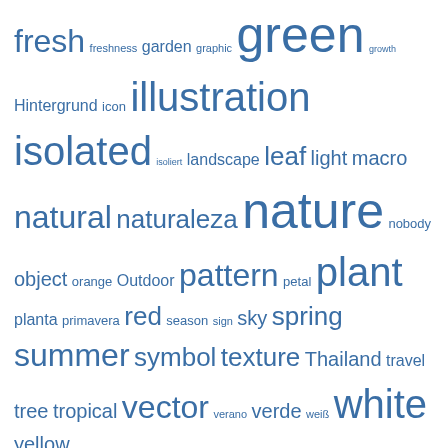fresh freshness garden graphic green growth Hintergrund icon illustration isolated isoliert landscape leaf light macro natural naturaleza nature nobody object orange Outdoor pattern petal plant planta primavera red season sign sky spring summer symbol texture Thailand travel tree tropical vector verano verde weiß white yellow
RECENT POSTS
Electric lighting effect , abstract, background, blue, bolt, bright, charge, color, danger, design, disaster,
Industrial abstract colorful , abstract, background, banner, blank, business, cog, cogwheel, colorful, computer,
background, black, blank, border, business, communication, computer, copy, design, desktop, device, digital,
sukhothai historical park
cherry blossom, Chiang Mai, Thailand